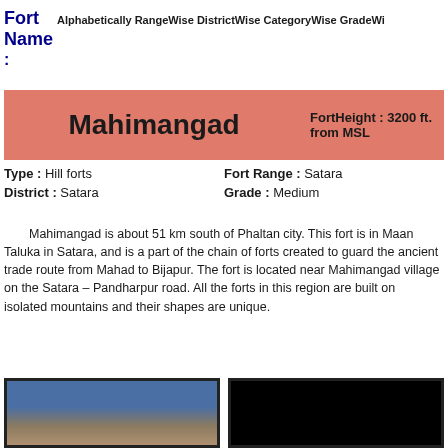Fort
Name Alphabetically RangeWise DistrictWise CategoryWise GradeWi...
:
| Mahimangad | FortHeight : 3200 ft. from MSL |
| --- | --- |
| Type : Hill forts | Fort Range : Satara |
| District : Satara | Grade : Medium |
Mahimangad is about 51 km south of Phaltan city. This fort is in Maan Taluka in Satara, and is a part of the chain of forts created to guard the ancient trade route from Mahad to Bijapur. The fort is located near Mahimangad village on the Satara – Pandharpur road. All the forts in this region are built on isolated mountains and their shapes are unique.
[Figure (photo): Photo of Mahimangad fort hill]
[Figure (photo): Second photo, mostly dark/black]